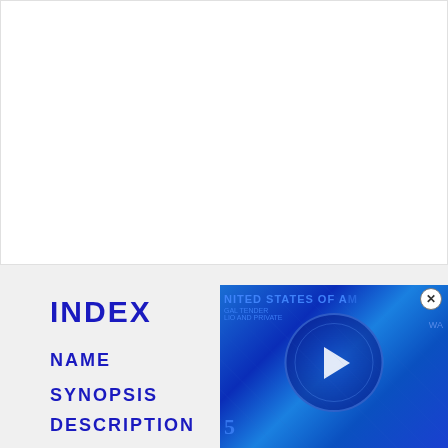[Figure (other): White empty top section of a webpage]
INDEX
NAME
SYNOPSIS
DESCRIPTION
[Figure (photo): Video thumbnail showing a blue-tinted US dollar bill with a circular design and play button overlay. Text reads UNITED STATES OF A... with legal tender text visible. A close (X) button appears in top right corner.]